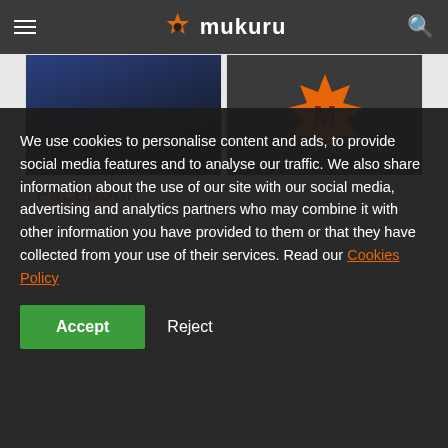mukuru
[Figure (screenshot): Two article cards side by side on a dark website. Left card shows Facebook Scam Alert article. Right card shows Mukuru logo and South African Stores With Your Mukuru Card article dated 20 Oct 2020.]
We use cookies to personalise content and ads, to provide social media features and to analyse our traffic. We also share information about the use of our site with our social media, advertising and analytics partners who may combine it with other information you have provided to them or that they have collected from your use of their services. Read our Cookies Policy
Accept
Reject